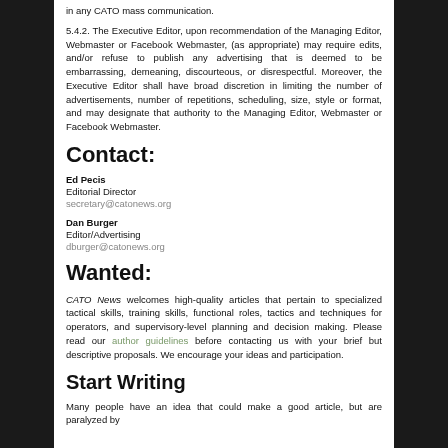in any CATO mass communication.
5.4.2. The Executive Editor, upon recommendation of the Managing Editor, Webmaster or Facebook Webmaster, (as appropriate) may require edits, and/or refuse to publish any advertising that is deemed to be embarrassing, demeaning, discourteous, or disrespectful. Moreover, the Executive Editor shall have broad discretion in limiting the number of advertisements, number of repetitions, scheduling, size, style or format, and may designate that authority to the Managing Editor, Webmaster or Facebook Webmaster.
Contact:
Ed Pecis
Editorial Director
secretary@catonews.org
Dan Burger
Editor/Advertising
dburger@catonews.org
Wanted:
CATO News welcomes high-quality articles that pertain to specialized tactical skills, training skills, functional roles, tactics and techniques for operators, and supervisory-level planning and decision making. Please read our author guidelines before contacting us with your brief but descriptive proposals. We encourage your ideas and participation.
Start Writing
Many people have an idea that could make a good article, but are paralyzed by